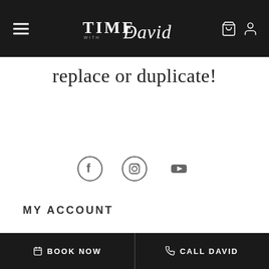TIME with David — navigation bar with hamburger menu, logo, cart and user icons
replace or duplicate!
[Figure (other): Social media icons: Facebook, Instagram, YouTube]
MY ACCOUNT
My Dashboard
Addresses
Account Details
Orders
BOOK NOW  |  CALL DAVID